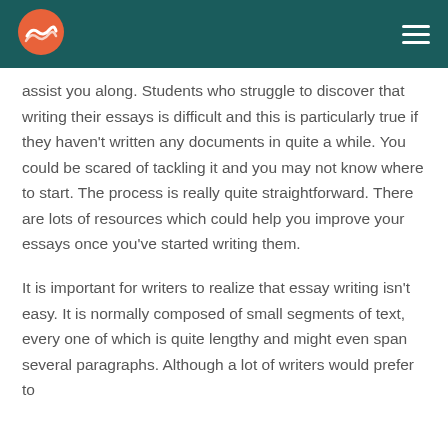[Figure (logo): Orange wave logo circle in teal navigation header bar]
assist you along. Students who struggle to discover that writing their essays is difficult and this is particularly true if they haven't written any documents in quite a while. You could be scared of tackling it and you may not know where to start. The process is really quite straightforward. There are lots of resources which could help you improve your essays once you've started writing them.
It is important for writers to realize that essay writing isn't easy. It is normally composed of small segments of text, every one of which is quite lengthy and might even span several paragraphs. Although a lot of writers would prefer to